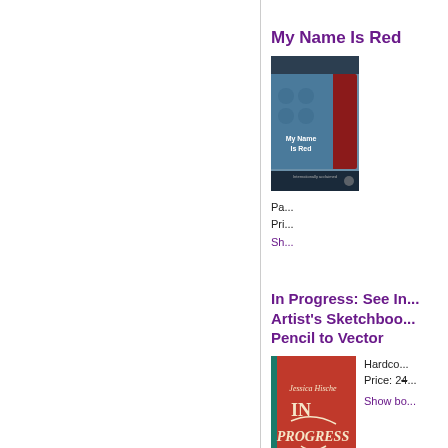My Name Is Red
[Figure (photo): Book cover of 'My Name Is Red' by Orhan Pamuk, showing a figure in red robes against a blue background with the author's name and title prominently displayed]
Pa...
Pri...
Sh...
In Progress: See In... Artist's Sketchboo... Pencil to Vector
[Figure (photo): Book cover of 'In Progress' by Jessica Hische, red cover with ornate lettering]
Hardco...
Price: 2...
Show bo...